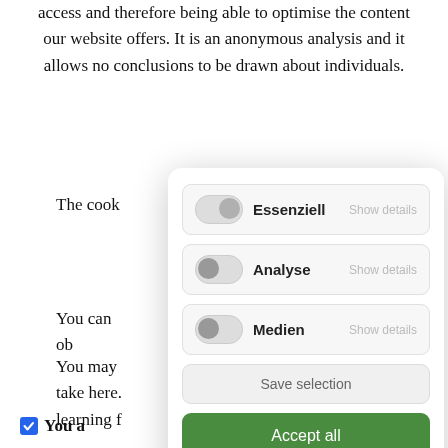access and therefore being able to optimise the content our website offers. It is an anonymous analysis and it allows no conclusions to be drawn about individuals.
The cook … puter and
You can … you can ob … es.
You may … ating and anal take here. … l also prevent learning f … rience for you
You a … -out.
[Figure (screenshot): Cookie consent modal dialog with toggles for Essenziell, Analyse, Medien, a Save selection button, an Accept all button, and Impressum · Datenschutz footer links.]